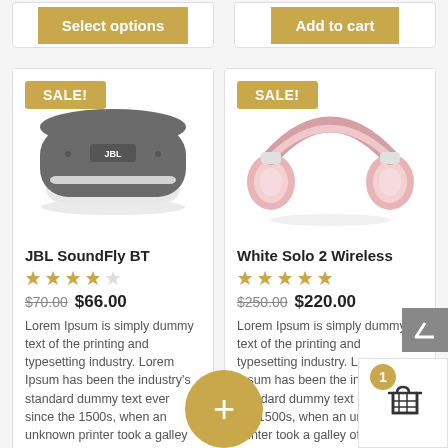[Figure (screenshot): Top buttons: 'Select options' and 'Add to cart' gold buttons on white cards]
[Figure (photo): JBL SoundFly BT bluetooth speaker product image, gray color with white base, SALE badge]
JBL SoundFly BT
4 out of 5 stars
$70.00 $66.00
Lorem Ipsum is simply dummy text of the printing and typesetting industry. Lorem Ipsum has been the industry's standard dummy text ever since the 1500s, when an unknown printer took a galley of type and scrambled
[Figure (photo): White Solo 2 Wireless headphones product image, rose gold/white color, SALE badge]
White Solo 2 Wireless
5 out of 5 stars
$250.00 $220.00
Lorem Ipsum is simply dummy text of the printing and typesetting industry. Lorem Ipsum has been the industry's standard dummy text ever since the 1500s, when an unknown printer took a galley of type and scrambled it to